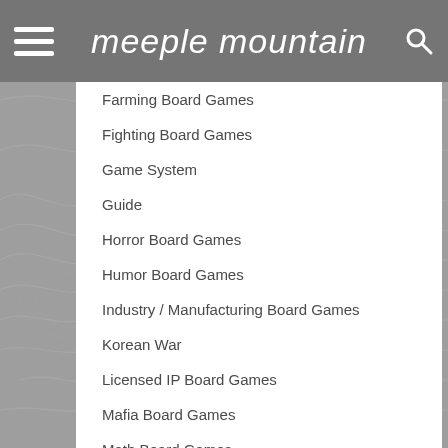meeple mountain
Farming Board Games
Fighting Board Games
Game System
Guide
Horror Board Games
Humor Board Games
Industry / Manufacturing Board Games
Korean War
Licensed IP Board Games
Mafia Board Games
Math Board Games
Mature / Adult
Maze
Medical Board Games